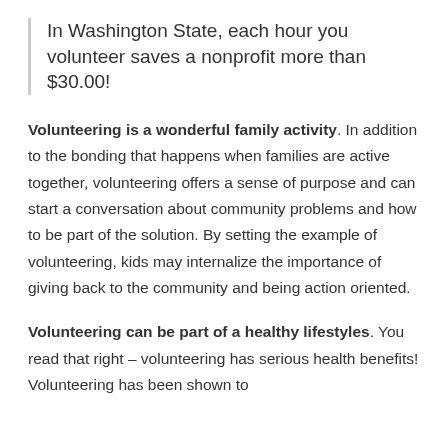In Washington State, each hour you volunteer saves a nonprofit more than $30.00!
Volunteering is a wonderful family activity. In addition to the bonding that happens when families are active together, volunteering offers a sense of purpose and can start a conversation about community problems and how to be part of the solution. By setting the example of volunteering, kids may internalize the importance of giving back to the community and being action oriented.
Volunteering can be part of a healthy lifestyles. You read that right – volunteering has serious health benefits! Volunteering has been shown to